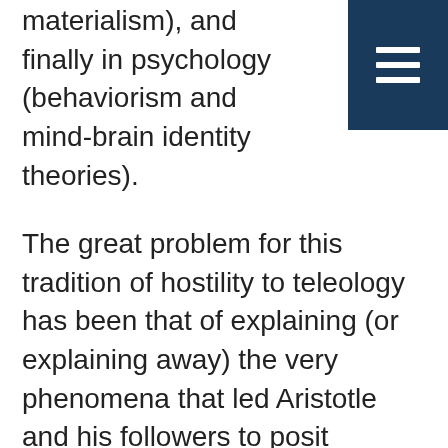materialism), and finally in psychology (behaviorism and mind-brain identity theories).
[Figure (other): Dark navy blue square menu/hamburger icon with three horizontal white lines, positioned in the top-right corner]
The great problem for this tradition of hostility to teleology has been that of explaining (or explaining away) the very phenomena that led Aristotle and his followers to posit teleology in the first place. A number of recent theorists have described these phenomena as instances of a kind of information. The problem for modernists is to explain the presence (or apparent presence) of such information in a world consistently, in the last analysis, of